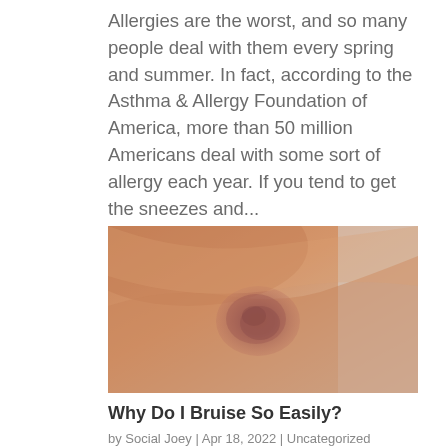Allergies are the worst, and so many people deal with them every spring and summer. In fact, according to the Asthma & Allergy Foundation of America, more than 50 million Americans deal with some sort of allergy each year. If you tend to get the sneezes and...
[Figure (photo): Close-up photo of a person's arm showing a bruise — a reddish-brown circular mark on skin]
Why Do I Bruise So Easily?
by Social Joey | Apr 18, 2022 | Uncategorized